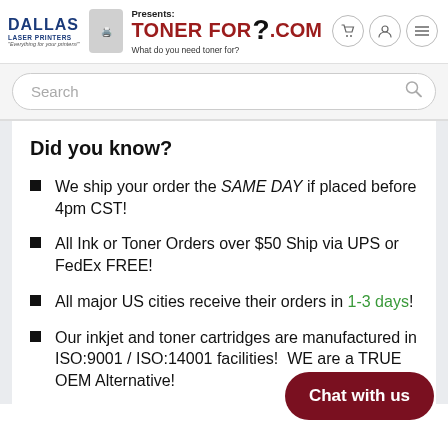Dallas Laser Printers Presents: TONER FOR?.COM — What do you need toner for?
Did you know?
We ship your order the SAME DAY if placed before 4pm CST!
All Ink or Toner Orders over $50 Ship via UPS or FedEx FREE!
All major US cities receive their orders in 1-3 days!
Our inkjet and toner cartridges are manufactured in ISO:9001 / ISO:14001 facilities!  WE are a TRUE OEM Alternative!